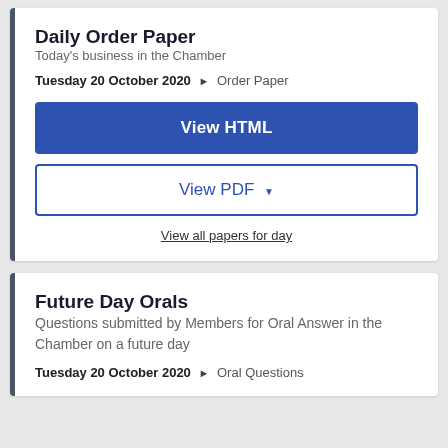Daily Order Paper
Today's business in the Chamber
Tuesday 20 October 2020 ▶ Order Paper
View HTML
View PDF ▼
View all papers for day
Future Day Orals
Questions submitted by Members for Oral Answer in the Chamber on a future day
Tuesday 20 October 2020 ▶ Oral Questions